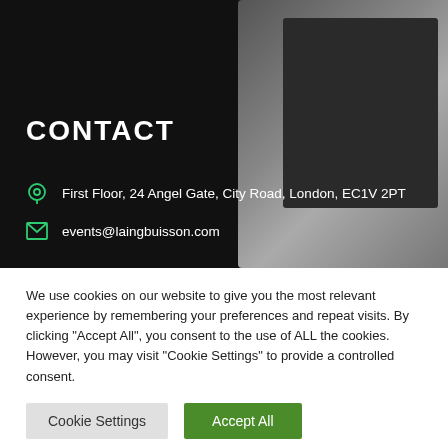[Figure (photo): Dark background with a blurred laptop or device on the right side, partially visible. The left portion is solid black.]
CONTACT
First Floor, 24 Angel Gate, City Road, London, EC1V 2PT
events@laingbuisson.com
We use cookies on our website to give you the most relevant experience by remembering your preferences and repeat visits. By clicking "Accept All", you consent to the use of ALL the cookies. However, you may visit "Cookie Settings" to provide a controlled consent.
Cookie Settings | Accept All